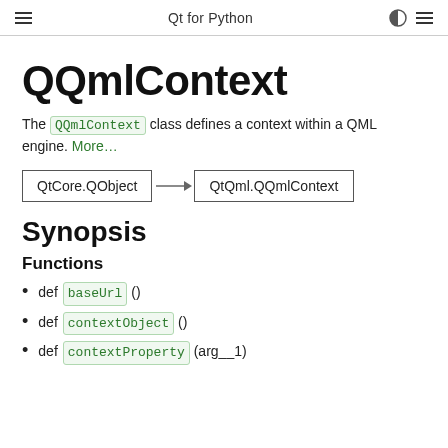Qt for Python
QQmlContext
The QQmlContext class defines a context within a QML engine. More...
[Figure (flowchart): Inheritance diagram showing QtCore.QObject -> QtQml.QQmlContext]
Synopsis
Functions
def baseUrl ()
def contextObject ()
def contextProperty (arg__1)